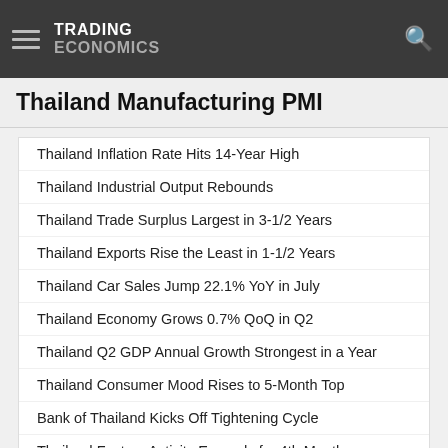TRADING ECONOMICS
Thailand Manufacturing PMI
Thailand Inflation Rate Hits 14-Year High
Thailand Industrial Output Rebounds
Thailand Trade Surplus Largest in 3-1/2 Years
Thailand Exports Rise the Least in 1-1/2 Years
Thailand Car Sales Jump 22.1% YoY in July
Thailand Economy Grows 0.7% QoQ in Q2
Thailand Q2 GDP Annual Growth Strongest in a Year
Thailand Consumer Mood Rises to 5-Month Top
Bank of Thailand Kicks Off Tightening Cycle
Thailand Factory Activity Expands for 4th Month